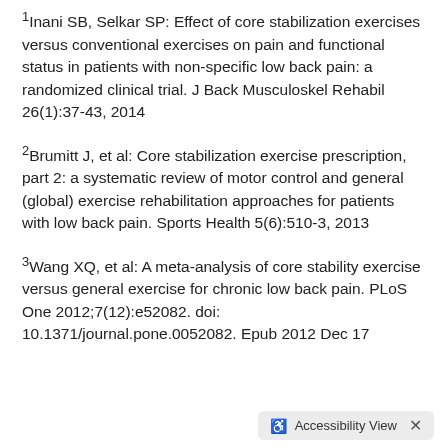1Inani SB, Selkar SP: Effect of core stabilization exercises versus conventional exercises on pain and functional status in patients with non-specific low back pain: a randomized clinical trial. J Back Musculoskel Rehabil 26(1):37-43, 2014
2Brumitt J, et al: Core stabilization exercise prescription, part 2: a systematic review of motor control and general (global) exercise rehabilitation approaches for patients with low back pain. Sports Health 5(6):510-3, 2013
3Wang XQ, et al: A meta-analysis of core stability exercise versus general exercise for chronic low back pain. PLoS One 2012;7(12):e52082. doi: 10.1371/journal.pone.0052082. Epub 2012 Dec 17